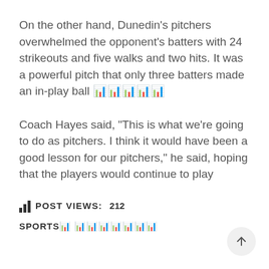On the other hand, Dunedin’s pitchers overwhelmed the opponent’s batters with 24 strikeouts and five walks and two hits. It was a powerful pitch that only three batters made an in-play ball 📊📊📊📊📊
Coach Hayes said, “This is what we’re going to do as pitchers. I think it would have been a good lesson for our pitchers,” he said, hoping that the players would continue to play
📊 POST VIEWS:   212
SPORTS📊 📊📊📊📊📊📊📊